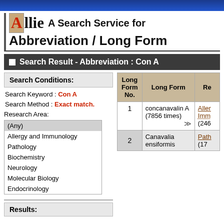Allie A Search Service for Abbreviation / Long Form
Search Result - Abbreviation : Con A
Search Conditions:
Search Keyword : Con A
Search Method : Exact match.
Research Area:
(Any)
Allergy and Immunology
Pathology
Biochemistry
Neurology
Molecular Biology
Endocrinology
| Long Form No. | Long Form | Re |
| --- | --- | --- |
| 1 | concanavalin A (7856 times) >> | Allergy and Imm (246 |
| 2 | Canavalia ensiformis | Path (17 |
Results: